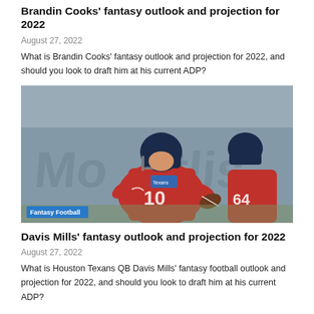Brandin Cooks' fantasy outlook and projection for 2022
August 27, 2022
What is Brandin Cooks' fantasy outlook and projection for 2022, and should you look to draft him at his current ADP?
[Figure (photo): Houston Texans players in red jerseys and helmets practicing on field. A quarterback wearing number 10 holds a football. A 'Fantasy Football' tag is overlaid at the bottom left.]
Davis Mills' fantasy outlook and projection for 2022
August 27, 2022
What is Houston Texans QB Davis Mills' fantasy football outlook and projection for 2022, and should you look to draft him at his current ADP?